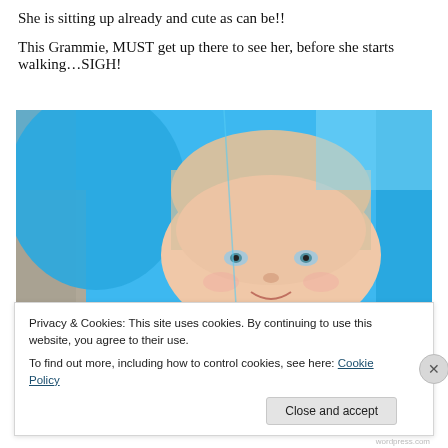She is sitting up already and cute as can be!!
This Grammie, MUST get up there to see her, before she starts walking…SIGH!
[Figure (photo): Young blonde toddler girl looking up at the camera from inside a blue plastic playground slide, with gravel visible in the background on the left side.]
Privacy & Cookies: This site uses cookies. By continuing to use this website, you agree to their use.
To find out more, including how to control cookies, see here: Cookie Policy
Close and accept